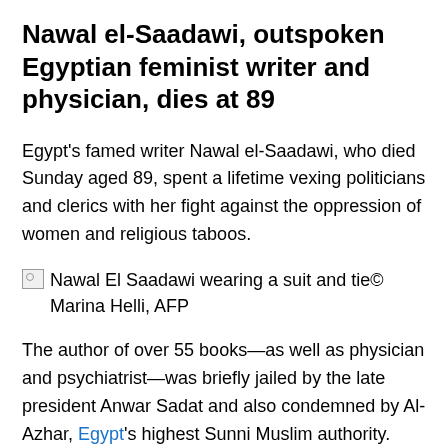Nawal el-Saadawi, outspoken Egyptian feminist writer and physician, dies at 89
Egypt's famed writer Nawal el-Saadawi, who died Sunday aged 89, spent a lifetime vexing politicians and clerics with her fight against the oppression of women and religious taboos.
[Figure (photo): Nawal El Saadawi wearing a suit and tie© Marina Helli, AFP]
The author of over 55 books—as well as physician and psychiatrist—was briefly jailed by the late president Anwar Sadat and also condemned by Al-Azhar, Egypt's highest Sunni Muslim authority.
The outspoken author and trained physician campaigned